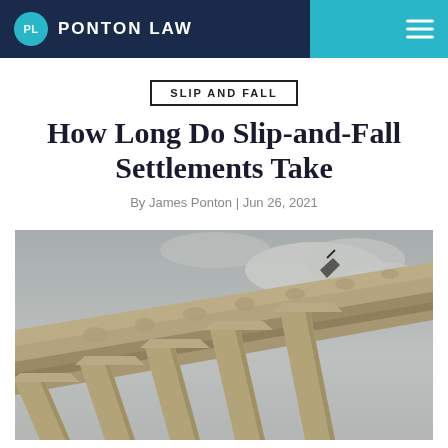PL PONTON LAW
SLIP AND FALL
How Long Do Slip-and-Fall Settlements Take
By James Ponton | Jun 26, 2021
[Figure (photo): Upward-angle photo of a neoclassical courthouse facade featuring large columns, sculpted frieze, and overcast sky]